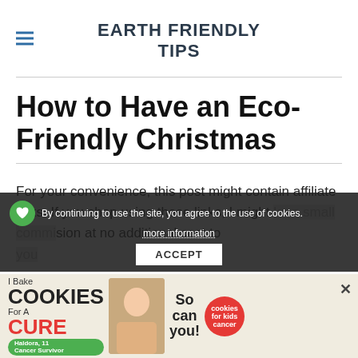EARTH FRIENDLY TIPS
How to Have an Eco-Friendly Christmas
For your convenience, this post might contain affiliate links. If you shop using these links, I might make a small commission at no additional cost to you sure, isn't nearly as interesting a...